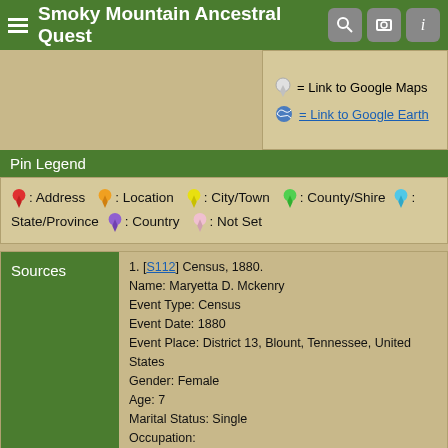Smoky Mountain Ancestral Quest
= Link to Google Maps
= Link to Google Earth
Pin Legend
: Address  : Location  : City/Town  : County/Shire  : State/Province  : Country  : Not Set
Sources
1. [S112] Census, 1880.
Name: Maryetta D. Mckenry
Event Type: Census
Event Date: 1880
Event Place: District 13, Blount, Tennessee, United States
Gender: Female
Age: 7
Marital Status: Single
Occupation:
Race (Original):
Ethnicity: American
Relationship to Head of Household: Daughter
Birthplace: Tennessee, United States
Birth Date: 1873
Spouse's Name:
Spouse's Birthplace:
Father's Name: Samuel Mckenry
Father's Birthplace: Tennessee, United States
Mother's Name: Dorcas Mckenry